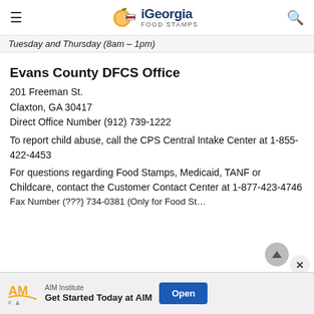iGeorgia FOOD STAMPS
Tuesday and Thursday (8am – 1pm)
Evans County DFCS Office
201 Freeman St.
Claxton, GA 30417
Direct Office Number (912) 739-1222
To report child abuse, call the CPS Central Intake Center at 1-855-422-4453
For questions regarding Food Stamps, Medicaid, TANF or Childcare, contact the Customer Contact Center at 1-877-423-4746
Fax Number (???} 734-0381 (Only for Food St...)
[Figure (infographic): AIM Institute advertisement banner: Get Started Today at AIM with Open button]